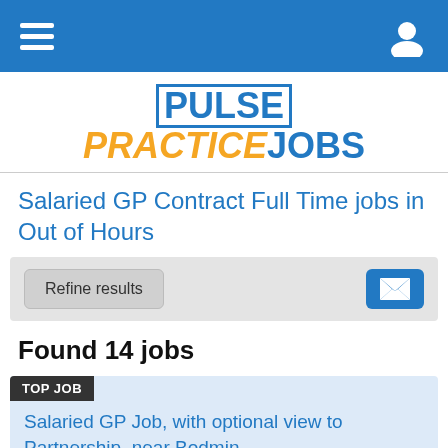PULSE PRACTICE JOBS — navigation bar
[Figure (logo): Pulse Practice Jobs logo with blue PULSE in box, orange italic PRACTICE, and blue JOBS]
Salaried GP Contract Full Time jobs in Out of Hours
Refine results
Found 14 jobs
TOP JOB
Salaried GP Job, with optional view to Partnership, near Bodmin
Bodmin, Cornwall